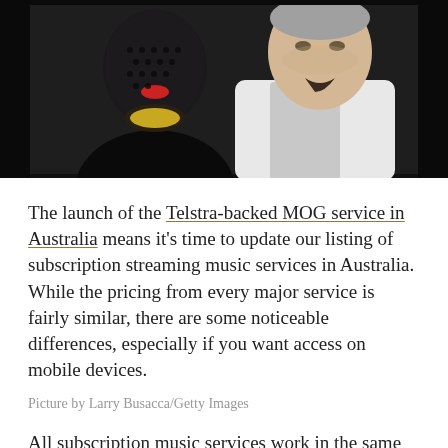[Figure (photo): Two people photographed together. On the left is a person wearing a black outfit with a fishnet/dotted veil over their face and red lips visible. On the right is an older man in a white suit jacket with a light-colored shirt, mouth slightly open as if speaking. Dark background.]
The launch of the Telstra-backed MOG service in Australia means it's time to update our listing of subscription streaming music services in Australia. While the pricing from every major service is fairly similar, there are some noticeable differences, especially if you want access on mobile devices.
Picture by Larry Busacca/Getty Images
All subscription music services work in the same way. For a fixed monthly fee, you can stream as much music as you like to your computer from a set catalogue of several million